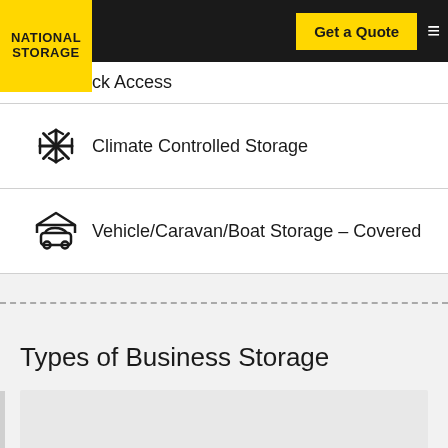[Figure (logo): National Storage logo - yellow square with black text reading NATIONAL STORAGE]
Get a Quote
ck Access
Climate Controlled Storage
Vehicle/Caravan/Boat Storage – Covered
Types of Business Storage